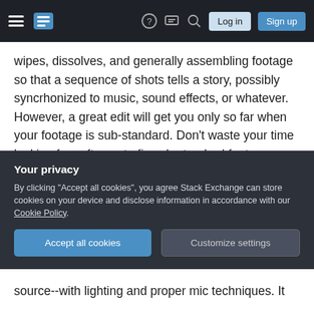Stack Exchange navigation bar with hamburger menu, logo, help, chat, search icons, Log in and Sign up buttons
wipes, dissolves, and generally assembling footage so that a sequence of shots tells a story, possibly syncrhonized to music, sound effects, or whatever. However, a great edit will get you only so far when your footage is sub-standard. Don't waste your time looking for software to fix sub-standard footage. Learn about lighting (especially 3-point lighting), camera movement, and camera support. If you don't like your audio, don't waste your time looking for software to clean it up. Learn to record audio properly, with microphones positioned appropriately.
Your privacy
By clicking "Accept all cookies", you agree Stack Exchange can store cookies on your device and disclose information in accordance with our Cookie Policy.
Accept all cookies   Customize settings
source--with lighting and proper mic techniques. It